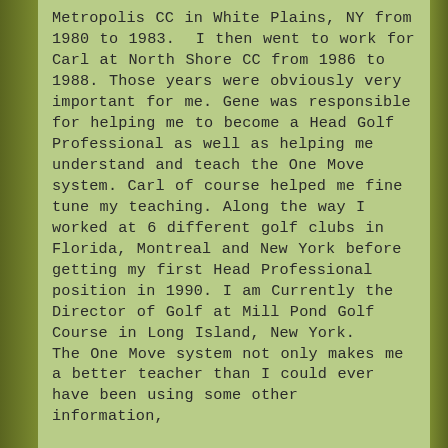Metropolis CC in White Plains, NY from 1980 to 1983.  I then went to work for Carl at North Shore CC from 1986 to 1988. Those years were obviously very important for me. Gene was responsible for helping me to become a Head Golf Professional as well as helping me understand and teach the One Move system. Carl of course helped me fine tune my teaching. Along the way I worked at 6 different golf clubs in Florida, Montreal and New York before getting my first Head Professional position in 1990. I am Currently the Director of Golf at Mill Pond Golf Course in Long Island, New York.
The One Move system not only makes me a better teacher than I could ever have been using some other information,